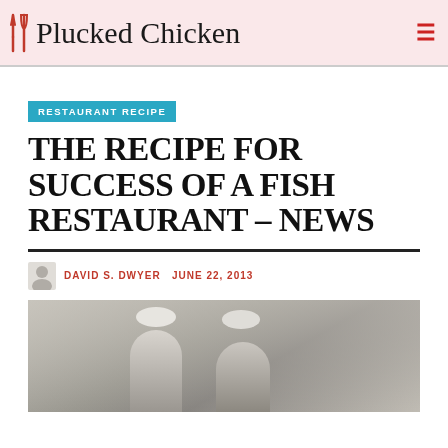Plucked Chicken
RESTAURANT RECIPE
THE RECIPE FOR SUCCESS OF A FISH RESTAURANT – NEWS
DAVID S. DWYER   JUNE 22, 2013
[Figure (photo): Two workers in white hairnets in a food preparation environment]